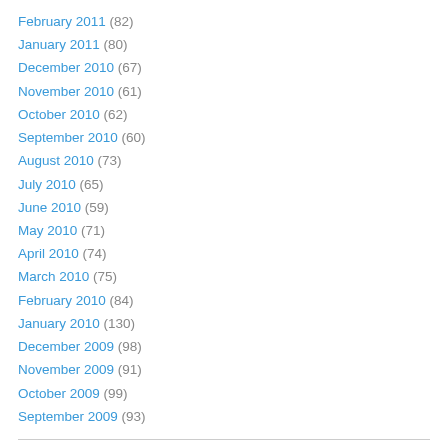February 2011 (82)
January 2011 (80)
December 2010 (67)
November 2010 (61)
October 2010 (62)
September 2010 (60)
August 2010 (73)
July 2010 (65)
June 2010 (59)
May 2010 (71)
April 2010 (74)
March 2010 (75)
February 2010 (84)
January 2010 (130)
December 2009 (98)
November 2009 (91)
October 2009 (99)
September 2009 (93)